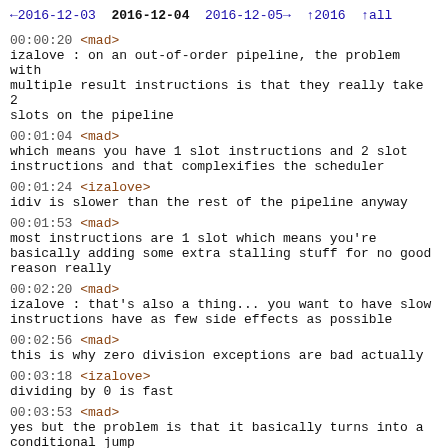←2016-12-03  2016-12-04  2016-12-05→  ↑2016  ↑all
00:00:20 <mad>
izalove : on an out-of-order pipeline, the problem with multiple result instructions is that they really take 2 slots on the pipeline
00:01:04 <mad>
which means you have 1 slot instructions and 2 slot instructions and that complexifies the scheduler
00:01:24 <izalove>
idiv is slower than the rest of the pipeline anyway
00:01:53 <mad>
most instructions are 1 slot which means you're basically adding some extra stalling stuff for no good reason really
00:02:20 <mad>
izalove : that's also a thing... you want to have slow instructions have as few side effects as possible
00:02:56 <mad>
this is why zero division exceptions are bad actually
00:03:18 <izalove>
dividing by 0 is fast
00:03:53 <mad>
yes but the problem is that it basically turns into a conditional jump
00:04:15 <izalove>